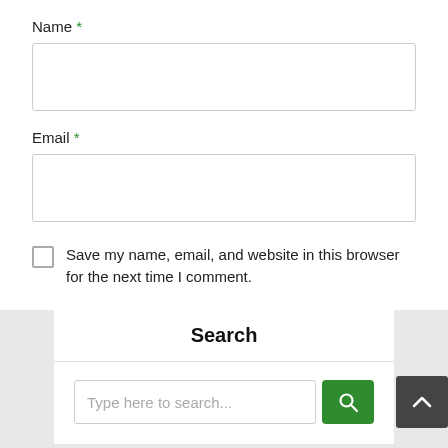Name *
Email *
Save my name, email, and website in this browser for the next time I comment.
Post Comment
Search
Type here to search...